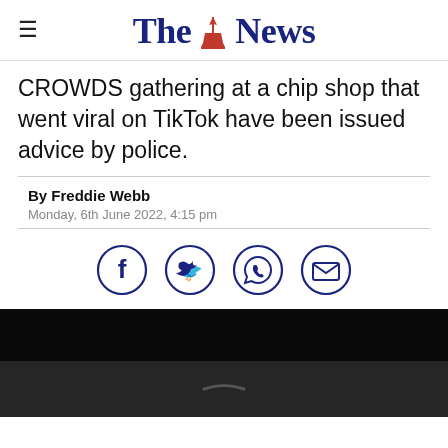The News
CROWDS gathering at a chip shop that went viral on TikTok have been issued advice by police.
By Freddie Webb
Monday, 6th June 2022, 4:15 pm
[Figure (infographic): Social media share icons: Facebook, Twitter, WhatsApp, Email — each in a navy blue circle outline]
[Figure (photo): Dark/black photo at bottom of page, partially visible, appears to show a street or outdoor scene at night]